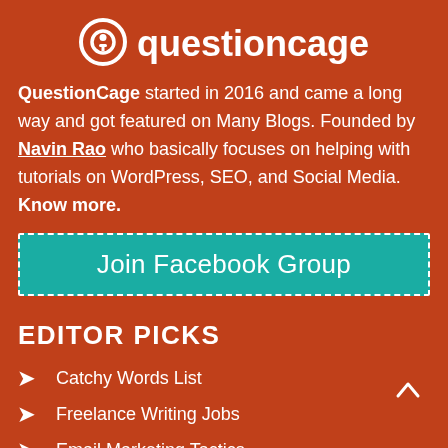[Figure (logo): QuestionCage logo: white circular icon with a stylized Q/question mark symbol, followed by the text 'questioncage' in white bold font]
QuestionCage started in 2016 and came a long way and got featured on Many Blogs. Founded by Navin Rao who basically focuses on helping with tutorials on WordPress, SEO, and Social Media. Know more.
Join Facebook Group
EDITOR PICKS
Catchy Words List
Freelance Writing Jobs
Email Marketing Tactics
Weird Websites on Internet